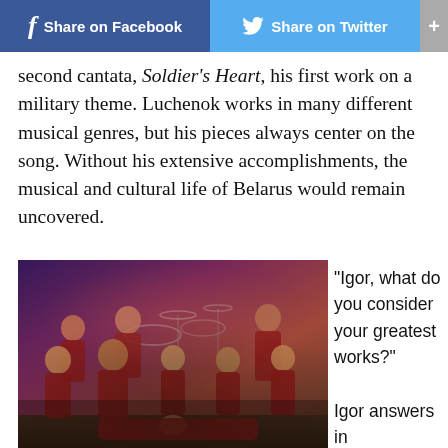Share on Facebook  Share on Twitter  +
second cantata, Soldier's Heart, his first work on a military theme. Luchenok works in many different musical genres, but his pieces always center on the song. Without his extensive accomplishments, the musical and cultural life of Belarus would remain uncovered.
[Figure (photo): Group photo of approximately nine musicians wearing matching traditional Belarusian folk costumes (red, white and dark embroidered jackets), posed on a stage with drum kit and cymbals visible in the background.]
“Igor, what do you consider your greatest works?”
Igor answers in